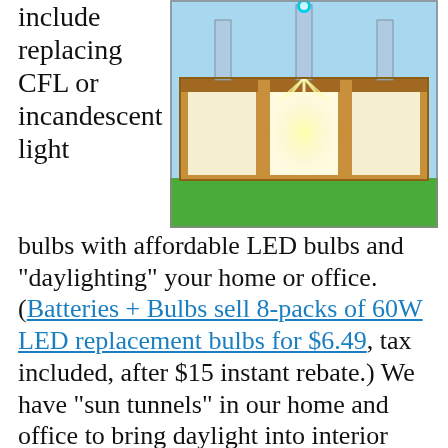include replacing CFL or incandescent light
[Figure (illustration): Illustration of a building cross-section showing three rooms lit with sun tunnels bringing daylight in from the roof. The building has a brown/tan structure, blue sky background, green ground, and the sun tunnels are shown as vertical tubes bringing light down into the interior spaces.]
bulbs with affordable LED bulbs and "daylighting" your home or office. (Batteries + Bulbs sell 8-packs of 60W LED replacement bulbs for $6.49, tax included, after $15 instant rebate.) We have "sun tunnels" in our home and office to bring daylight into interior spaces. In fact, on a sunny day we don't need to turn on any lights in our office. It's great— and saves energy. We had Design Skylights of Evergreen install Velux sun tunnels at both home and office.